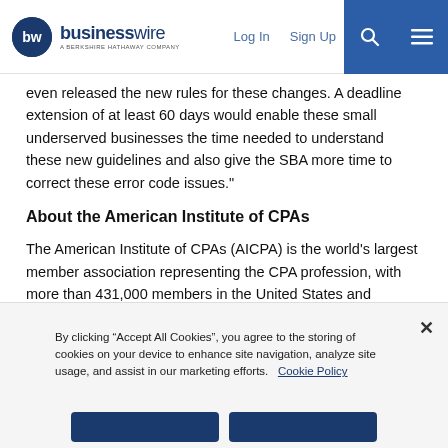businesswire — A BERKSHIRE HATHAWAY COMPANY | Log In | Sign Up
even released the new rules for these changes. A deadline extension of at least 60 days would enable these small underserved businesses the time needed to understand these new guidelines and also give the SBA more time to correct these error code issues."
About the American Institute of CPAs
The American Institute of CPAs (AICPA) is the world's largest member association representing the CPA profession, with more than 431,000 members in the United States and worldwide, and a history of serving the public interest since 1887. AICPA members represent many areas of practice, including business and industry,
By clicking "Accept All Cookies", you agree to the storing of cookies on your device to enhance site navigation, analyze site usage, and assist in our marketing efforts.   Cookie Policy